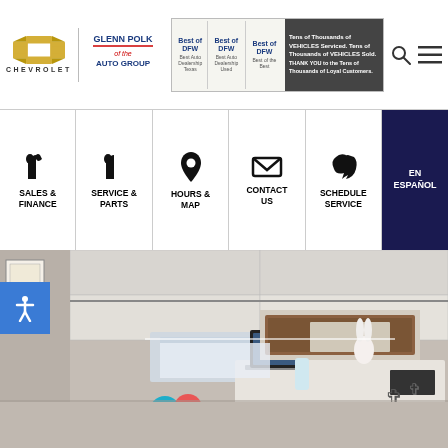[Figure (logo): Chevrolet bowtie logo with CHEVROLET text below]
[Figure (logo): Glenn Polk Auto Group logo]
[Figure (infographic): BFW Best of DFW award banner advertisement]
Navigation icons: phone/search/menu
SALES & FINANCE
SERVICE & PARTS
HOURS & MAP
CONTACT US
SCHEDULE SERVICE
EN ESPAÑOL
[Figure (photo): Interior photo of a dealership service desk/reception area with balloons, cross decorations on wall, and office behind a window]